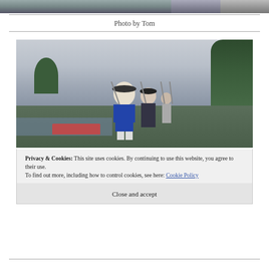[Figure (photo): Partial top strip of a photo showing a dock/waterfront scene]
Photo by Tom
[Figure (photo): Outdoor photo of people dressed in colonial-era military costumes with muskets, standing near a waterfront with boats and trees in the background under a cloudy sky]
Privacy & Cookies: This site uses cookies. By continuing to use this website, you agree to their use.
To find out more, including how to control cookies, see here: Cookie Policy
Close and accept